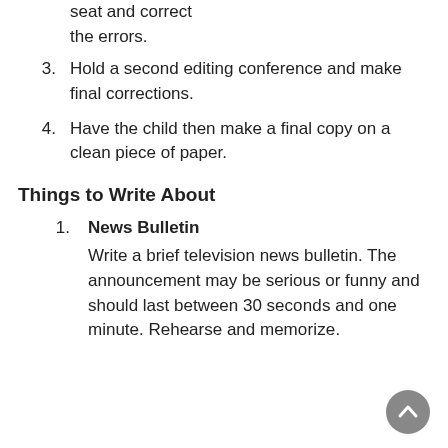seat and correct the errors.
3. Hold a second editing conference and make final corrections.
4. Have the child then make a final copy on a clean piece of paper.
Things to Write About
1. News Bulletin
Write a brief television news bulletin. The announcement may be serious or funny and should last between 30 seconds and one minute. Rehearse and memorize.